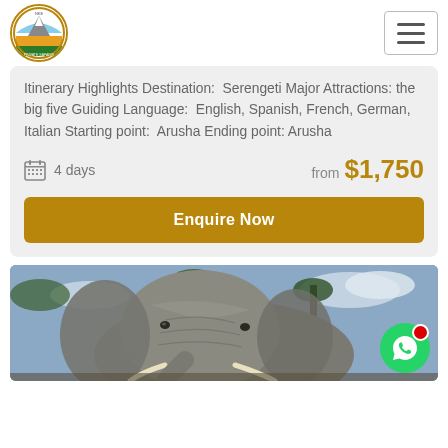NKE Kilimanjaro Private Safaris — navigation header with logo and hamburger menu
Itinerary Highlights Destination: Serengeti Major Attractions: the big five Guiding Language: English, Spanish, French, German, Italian Starting point: Arusha Ending point: Arusha
4 days
from $1,750
Enquire Now
[Figure (photo): Close-up photograph of an African elephant outdoors with trees and cloudy sky in the background, with a WhatsApp chat bubble in the bottom-right corner]